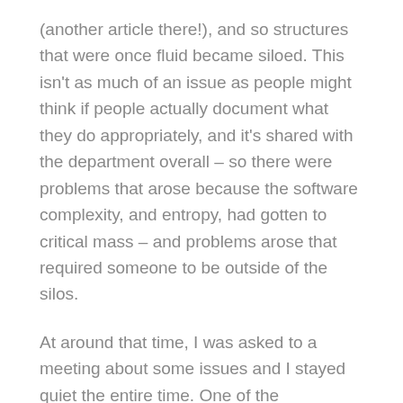(another article there!), and so structures that were once fluid became siloed. This isn't as much of an issue as people might think if people actually document what they do appropriately, and it's shared with the department overall – so there were problems that arose because the software complexity, and entropy, had gotten to critical mass – and problems arose that required someone to be outside of the silos.
At around that time, I was asked to a meeting about some issues and I stayed quiet the entire time. One of the company's officers asked me to stay after the meeting, and my Director was there too. He asked me, "Why didn't you say anything?"
So I explained to him that since my performance...